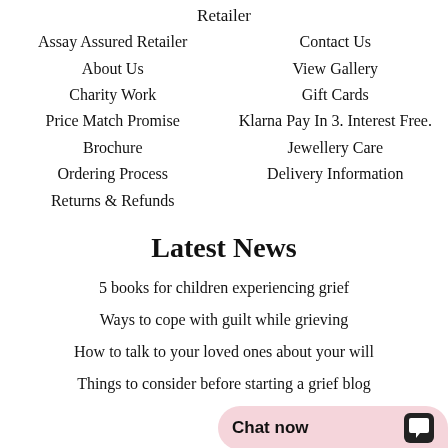Retailer
Assay Assured Retailer
About Us
Charity Work
Price Match Promise
Brochure
Ordering Process
Returns & Refunds
Contact Us
View Gallery
Gift Cards
Klarna Pay In 3. Interest Free.
Jewellery Care
Delivery Information
Latest News
5 books for children experiencing grief
Ways to cope with guilt while grieving
How to talk to your loved ones about your will
Things to consider before starting a grief blog
Chat now